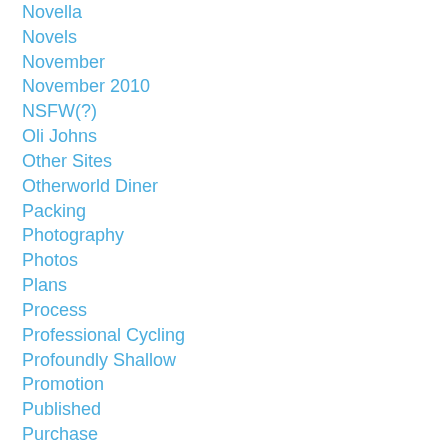Novella
Novels
November
November 2010
NSFW(?)
Oli Johns
Other Sites
Otherworld Diner
Packing
Photography
Photos
Plans
Process
Professional Cycling
Profoundly Shallow
Promotion
Published
Purchase
Purchases
Random
Random Thoughts